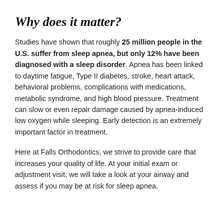Why does it matter?
Studies have shown that roughly 25 million people in the U.S. suffer from sleep apnea, but only 12% have been diagnosed with a sleep disorder. Apnea has been linked to daytime fatigue, Type II diabetes, stroke, heart attack, behavioral problems, complications with medications, metabolic syndrome, and high blood pressure. Treatment can slow or even repair damage caused by apnea-induced low oxygen while sleeping. Early detection is an extremely important factor in treatment.
Here at Falls Orthodontics, we strive to provide care that increases your quality of life. At your initial exam or adjustment visit, we will take a look at your airway and assess if you may be at risk for sleep apnea.